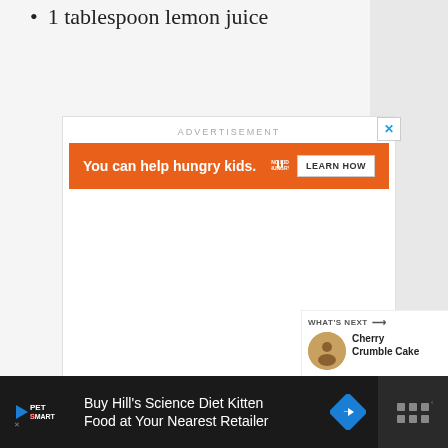1 tablespoon lemon juice
[Figure (screenshot): Advertisement banner: orange background with 'You can help hungry kids.' text, No Kid Hungry logo, and 'LEARN HOW' button]
[Figure (screenshot): Heart/favorite button (blue circle) and share button (white circle with share icon) on right sidebar]
[Figure (screenshot): What's Next section showing Cherry Crumble Cake with thumbnail]
[Figure (screenshot): Bottom advertisement bar: PetSmart - Buy Hill's Science Diet Kitten Food at Your Nearest Retailer]